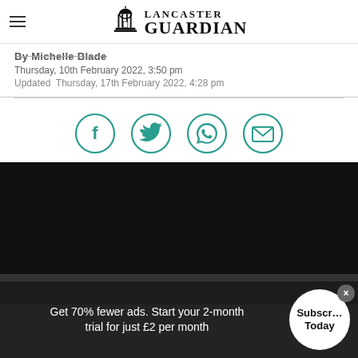Lancaster Guardian
By Michelle Blade
Thursday, 10th February 2022, 3:50 pm
Updated  Thursday, 17th February 2022, 4:28 pm
[Figure (infographic): Social share icons: Facebook, Twitter, WhatsApp, Email — teal circle outlines]
[Figure (photo): Black video/image block with dark gray bottom bar]
Get 70% fewer ads. Start your 2-month trial for just £2 per month
Subscribe Today